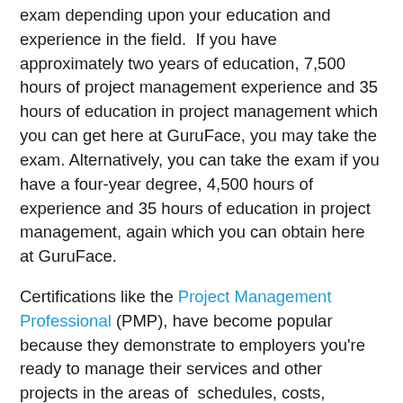exam depending upon your education and experience in the field.  If you have approximately two years of education, 7,500 hours of project management experience and 35 hours of education in project management which you can get here at GuruFace, you may take the exam. Alternatively, you can take the exam if you have a four-year degree, 4,500 hours of experience and 35 hours of education in project management, again which you can obtain here at GuruFace.
Certifications like the Project Management Professional (PMP), have become popular because they demonstrate to employers you're ready to manage their services and other projects in the areas of  schedules, costs, performance, quality, risks and procurement with a focus on profitability. Project managers start with a detailed plan, thinking through every aspect of the job. The then implement the plan while controlling the overall effort to get desired results, all while